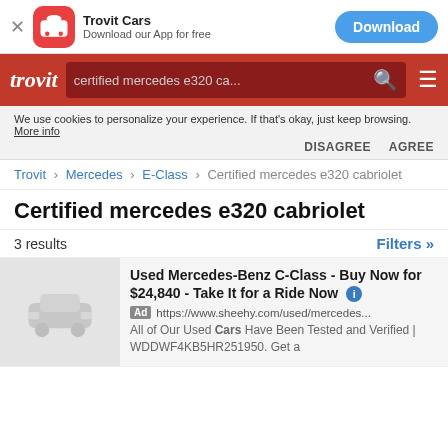Trovit Cars — Download our App for free — Download
trovit — certified mercedes e320 ca...
We use cookies to personalize your experience. If that's okay, just keep browsing. More info DISAGREE  AGREE
Trovit › Mercedes › E-Class › Certified mercedes e320 cabriolet
Certified mercedes e320 cabriolet
3 results    Filters »
Used Mercedes-Benz C-Class - Buy Now for $24,840 - Take It for a Ride Now
Ad https://www.sheehy.com/used/mercedes...
All of Our Used Cars Have Been Tested and Verified | WDDWF4KB5HR251950. Get a